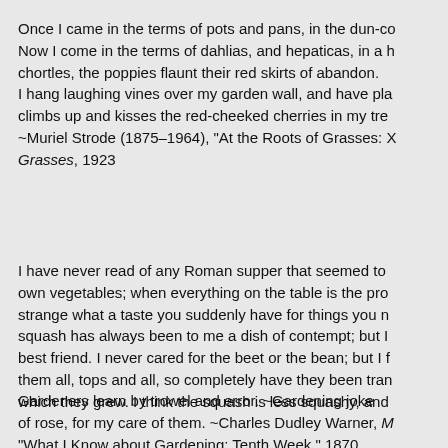Once I came in the terms of pots and pans, in the dun-co Now I come in the terms of dahlias, and hepaticas, in a h chortles, the poppies flaunt their red skirts of abandon. I hang laughing vines over my garden wall, and have pla climbs up and kisses the red-cheeked cherries in my tre ~Muriel Strode (1875–1964), "At the Roots of Grasses: X Grasses, 1923
I have never read of any Roman supper that seemed to own vegetables; when everything on the table is the pro strange what a taste you suddenly have for things you n squash has always been to me a dish of contempt; but I best friend. I never cared for the beet or the bean; but I f them all, tops and all, so completely have they been tran which they grew. I think the squash is less squashy, and of rose, for my care of them. ~Charles Dudley Warner, M "What I Know about Gardening: Tenth Week," 1870
Gardeners learn by trowel and error. ~Gardening joke